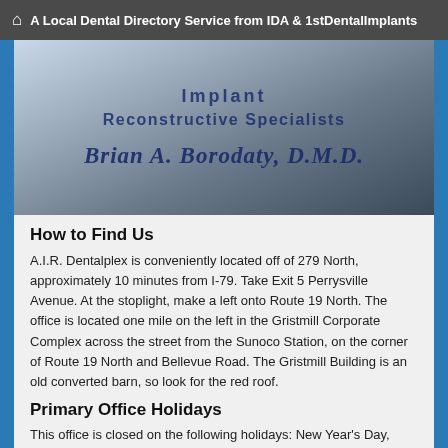A Local Dental Directory Service from IDA & 1stDentalImplants
[Figure (photo): Photo of a dental office sign showing 'Implant Reconstructive Specialists Brian A. Borodaty, D.M.D.' mounted on a wall]
How to Find Us
A.I.R. Dentalplex is conveniently located off of 279 North, approximately 10 minutes from I-79. Take Exit 5 Perrysville Avenue. At the stoplight, make a left onto Route 19 North. The office is located one mile on the left in the Gristmill Corporate Complex across the street from the Sunoco Station, on the corner of Route 19 North and Bellevue Road. The Gristmill Building is an old converted barn, so look for the red roof.
Primary Office Holidays
This office is closed on the following holidays: New Year's Day,